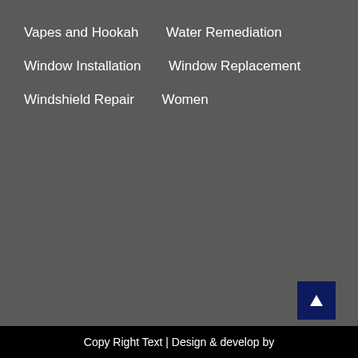Vapes and Hookah
Water Remediation
Window Installation
Window Replacement
Windshield Repair
Women
Copy Right Text | Design & develop by